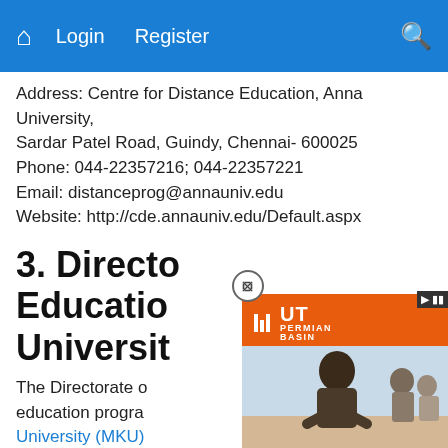Home  Login  Register  Search
Address: Centre for Distance Education, Anna University, Sardar Patel Road, Guindy, Chennai- 600025
Phone: 044-22357216; 044-22357221
Email: distanceprog@annauniv.edu
Website: http://cde.annauniv.edu/Default.aspx
3. Directorate of Distance Education, Madurai Kamaraj University
The Directorate of Distance education programs at Madurai Kamaraj University (MKU) reaches the unreached and also imparts education to persons through various programs to those who have discontinued their studies.
[Figure (photo): Advertisement for UT Permian Basin Online Accelerated BBA Degree in Management. Shows a woman leading a meeting. Text reads: Affordable BBA in Management, UT Permian Basin, Learn More button.]